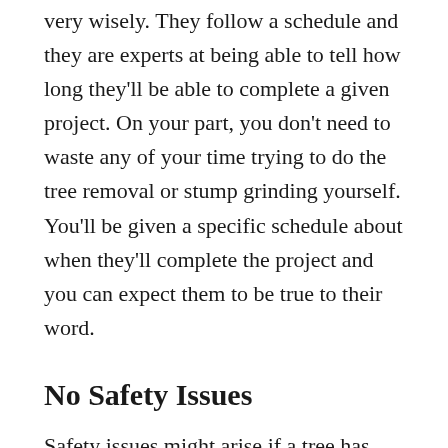very wisely. They follow a schedule and they are experts at being able to tell how long they'll be able to complete a given project. On your part, you don't need to waste any of your time trying to do the tree removal or stump grinding yourself. You'll be given a specific schedule about when they'll complete the project and you can expect them to be true to their word.
No Safety Issues
Safety issues might arise if a tree has already gotten so big and there are so many large branches. It poses a threat to you and your family's safety and also to the structures on your property such as your house and more. The pros know how to deal with those safety